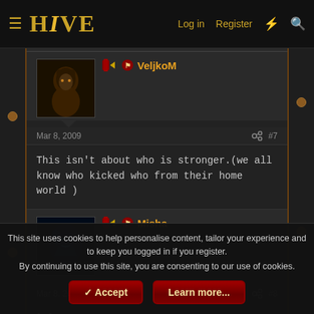HIVE — Log in  Register
VeljkoM
Mar 8, 2009  #7
This isn't about who is stronger.(we all know who kicked who from their home world )
Misha
Mar 8, 2009  #8
lol...
This site uses cookies to help personalise content, tailor your experience and to keep you logged in if you register.
By continuing to use this site, you are consenting to our use of cookies.